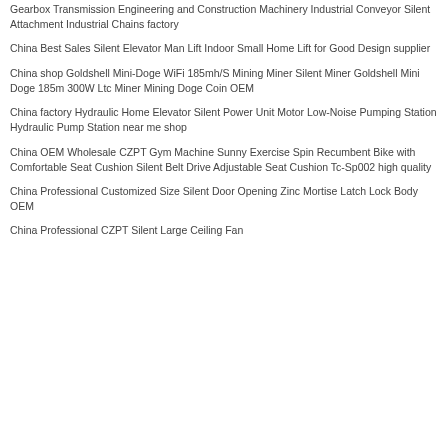Gearbox Transmission Engineering and Construction Machinery Industrial Conveyor Silent Attachment Industrial Chains factory
China Best Sales Silent Elevator Man Lift Indoor Small Home Lift for Good Design supplier
China shop Goldshell Mini-Doge WiFi 185mh/S Mining Miner Silent Miner Goldshell Mini Doge 185m 300W Ltc Miner Mining Doge Coin OEM
China factory Hydraulic Home Elevator Silent Power Unit Motor Low-Noise Pumping Station Hydraulic Pump Station near me shop
China OEM Wholesale CZPT Gym Machine Sunny Exercise Spin Recumbent Bike with Comfortable Seat Cushion Silent Belt Drive Adjustable Seat Cushion Tc-Sp002 high quality
China Professional Customized Size Silent Door Opening Zinc Mortise Latch Lock Body OEM
China Professional CZPT Silent Large Ceiling Fan